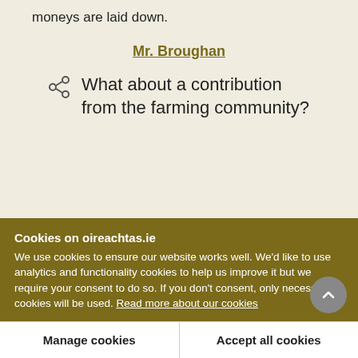moneys are laid down.
Mr. Broughan
What about a contribution from the farming community?
Cookies on oireachtas.ie
We use cookies to ensure our website works well. We'd like to use analytics and functionality cookies to help us improve it but we require your consent to do so. If you don't consent, only necessary cookies will be used. Read more about our cookies
Manage cookies
Accept all cookies